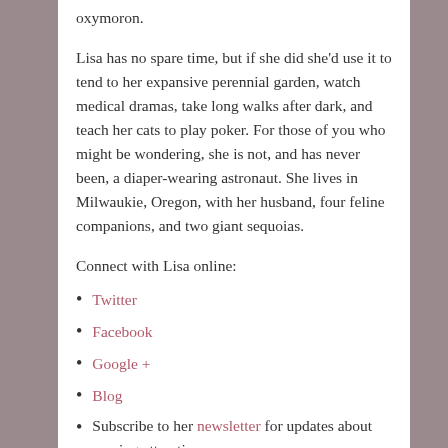oxymoron.
Lisa has no spare time, but if she did she'd use it to tend to her expansive perennial garden, watch medical dramas, take long walks after dark, and teach her cats to play poker. For those of you who might be wondering, she is not, and has never been, a diaper-wearing astronaut. She lives in Milwaukie, Oregon, with her husband, four feline companions, and two giant sequoias.
Connect with Lisa online:
Twitter
Facebook
Google +
Blog
Subscribe to her newsletter for updates about coming attractions
2 Comments